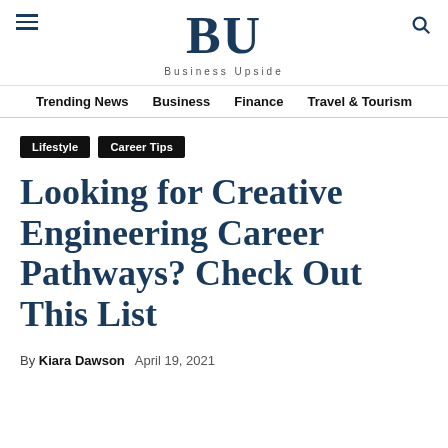BU — Business Upside
Trending News | Business | Finance | Travel & Tourism
Lifestyle
Career Tips
Looking for Creative Engineering Career Pathways? Check Out This List
By Kiara Dawson   April 19, 2021